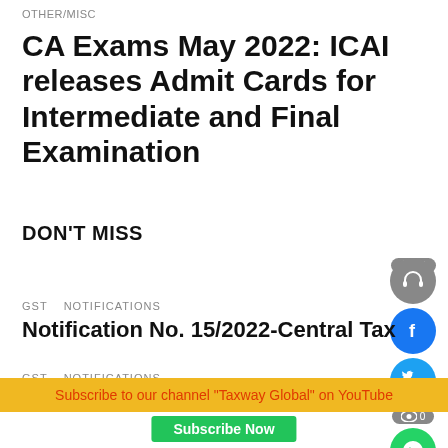OTHER/MISC
CA Exams May 2022: ICAI releases Admit Cards for Intermediate and Final Examination
DON'T MISS
GST   NOTIFICATIONS
Notification No. 15/2022-Central Tax
GST   NOTIFICATIONS
Notification No. 16/2022-Central Tax
Subscribe to our channel "Taxway Global" on YouTube
Subscribe Now